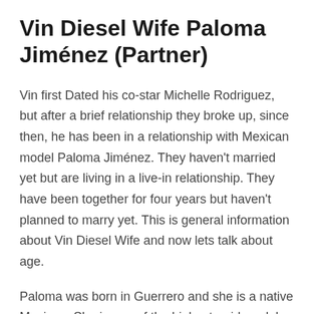Vin Diesel Wife Paloma Jiménez (Partner)
Vin first Dated his co-star Michelle Rodriguez, but after a brief relationship they broke up, since then, he has been in a relationship with Mexican model Paloma Jiménez. They haven't married yet but are living in a live-in relationship. They have been together for four years but haven't planned to marry yet. This is general information about Vin Diesel Wife and now lets talk about age.
Paloma was born in Guerrero and she is a native Mexican. She is one of the highest-paid models in the United States and Mexico. Vin and Paloma had been together since 2007, but Vin never told this to the public as he was reluctant at opening his privacy to the public. Except for a